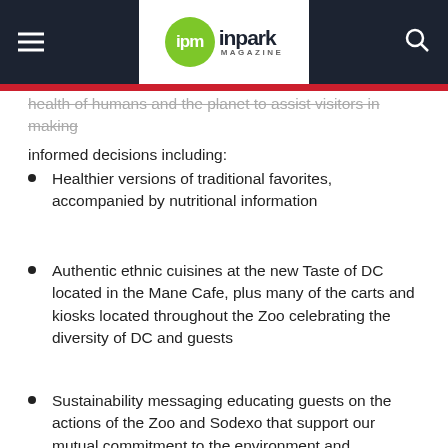ipm inpark MAGAZINE
health of humans and the planet to assist visitors in making informed decisions including:
Healthier versions of traditional favorites, accompanied by nutritional information
Authentic ethnic cuisines at the new Taste of DC located in the Mane Cafe, plus many of the carts and kiosks located throughout the Zoo celebrating the diversity of DC and guests
Sustainability messaging educating guests on the actions of the Zoo and Sodexo that support our mutual commitment to the environment and ecosystems